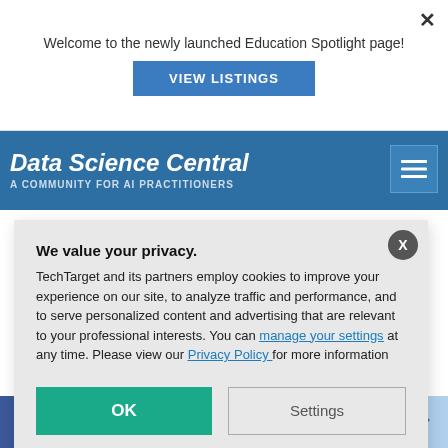Welcome to the newly launched Education Spotlight page!
VIEW LISTINGS
Data Science Central
A COMMUNITY FOR AI PRACTITIONERS
...adata
...Definition
[Figure (screenshot): Cookie consent popup overlay with privacy notice, manage your settings and Privacy Policy links, OK and Settings buttons]
We value your privacy. TechTarget and its partners employ cookies to improve your experience on our site, to analyze traffic and performance, and to serve personalized content and advertising that are relevant to your professional interests. You can manage your settings at any time. Please view our Privacy Policy for more information